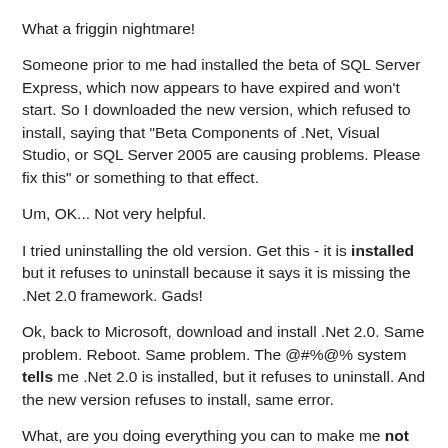What a friggin nightmare!
Someone prior to me had installed the beta of SQL Server Express, which now appears to have expired and won't start. So I downloaded the new version, which refused to install, saying that "Beta Components of .Net, Visual Studio, or SQL Server 2005 are causing problems. Please fix this" or something to that effect.
Um, OK... Not very helpful.
I tried uninstalling the old version. Get this - it is installed but it refuses to uninstall because it says it is missing the .Net 2.0 framework. Gads!
Ok, back to Microsoft, download and install .Net 2.0. Same problem. Reboot. Same problem. The @#%@% system tells me .Net 2.0 is installed, but it refuses to uninstall. And the new version refuses to install, same error.
What, are you doing everything you can to make me not use your software SQL Server?